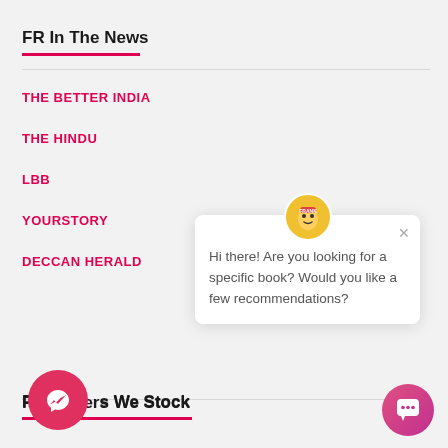FR In The News
THE BETTER INDIA
THE HINDU
LBB
YOURSTORY
DECCAN HERALD
[Figure (screenshot): Chat popup widget with avatar saying: Hi there! Are you looking for a specific book? Would you like a few recommendations?]
Publishers We Stock